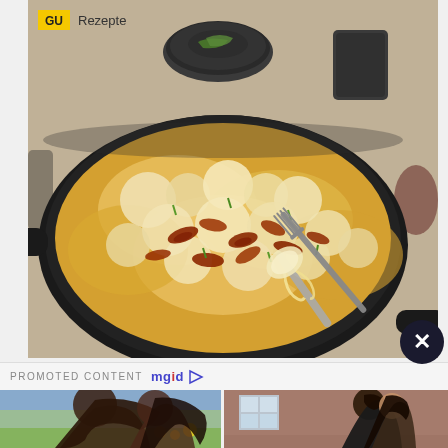[Figure (photo): Food photo showing a cast iron skillet with baked mac and cheese topped with crispy fried shallots and chives, with a fork lifting a cheesy portion. Background shows small bowls with green garnish and a glass. GU Rezepte logo in top left corner.]
PROMOTED CONTENT mgid ▷
[Figure (photo): Two thumbnail images side by side: left shows a woman with long dark hair outdoors with yellow flowers; right shows a couple (man and woman) near a building facade.]